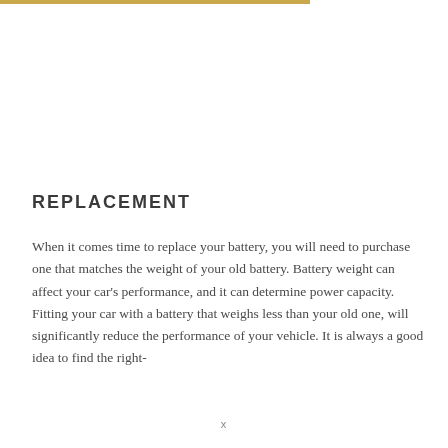REPLACEMENT
When it comes time to replace your battery, you will need to purchase one that matches the weight of your old battery. Battery weight can affect your car's performance, and it can determine power capacity. Fitting your car with a battery that weighs less than your old one, will significantly reduce the performance of your vehicle. It is always a good idea to find the right-
x